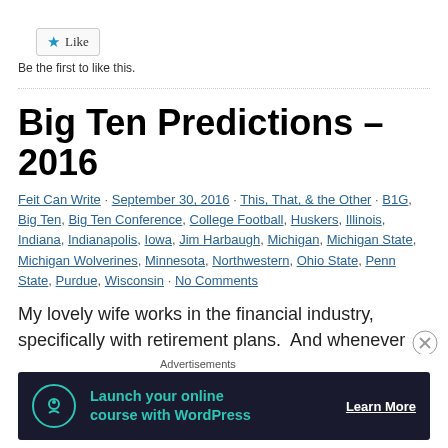[Figure (other): Like button with star icon]
Be the first to like this.
Big Ten Predictions – 2016
Feit Can Write · September 30, 2016 · This, That, & the Other · B1G, Big Ten, Big Ten Conference, College Football, Huskers, Illinois, Indiana, Indianapolis, Iowa, Jim Harbaugh, Michigan, Michigan State, Michigan Wolverines, Minnesota, Northwestern, Ohio State, Penn State, Purdue, Wisconsin · No Comments
My lovely wife works in the financial industry, specifically with retirement plans.  And whenever you discuss retirement plans and investment options you
[Figure (other): Advertisement banner: Launch your online course with WordPress - Learn More]
Advertisements